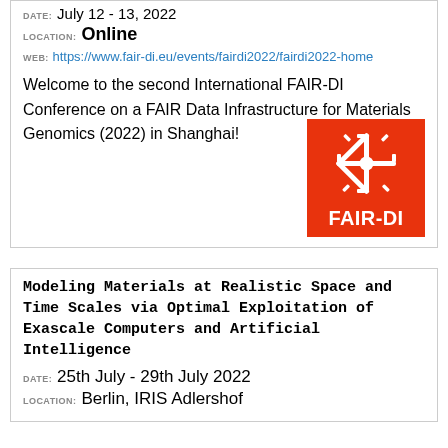DATE: July 12 - 13, 2022
LOCATION: Online
WEB: https://www.fair-di.eu/events/fairdi2022/fairdi2022-home
Welcome to the second International FAIR-DI Conference on a FAIR Data Infrastructure for Materials Genomics (2022) in Shanghai!
[Figure (logo): FAIR-DI logo: red/orange square with white snowflake/gear icon and text FAIR-DI in white]
Modeling Materials at Realistic Space and Time Scales via Optimal Exploitation of Exascale Computers and Artificial Intelligence
DATE: 25th July - 29th July 2022
LOCATION: Berlin, IRIS Adlershof